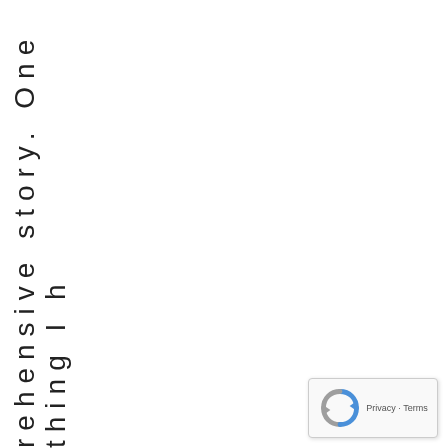rehensiveston. Onethingl h
[Figure (logo): Google reCAPTCHA badge with Privacy and Terms links]